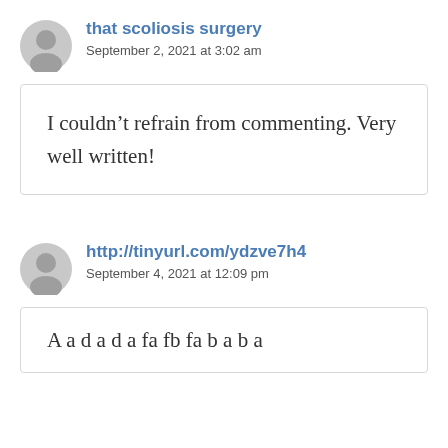that scoliosis surgery
September 2, 2021 at 3:02 am
I couldn’t refrain from commenting. Very well written!
http://tinyurl.com/ydzve7h4
September 4, 2021 at 12:09 pm
A a d a d a fa fb fa b a b a